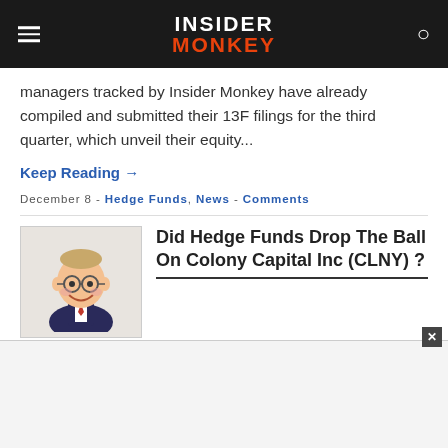INSIDER MONKEY
managers tracked by Insider Monkey have already compiled and submitted their 13F filings for the third quarter, which unveil their equity...
Keep Reading →
December 8 - Hedge Funds, News - Comments
[Figure (illustration): Cartoon caricature illustration of a man in a suit with glasses, smiling.]
Did Hedge Funds Drop The Ball On Colony Capital Inc (CLNY) ?
Hedge funds run by legendary names like George Soros and David Tepper make billions of dollars a year for themselves and their super-